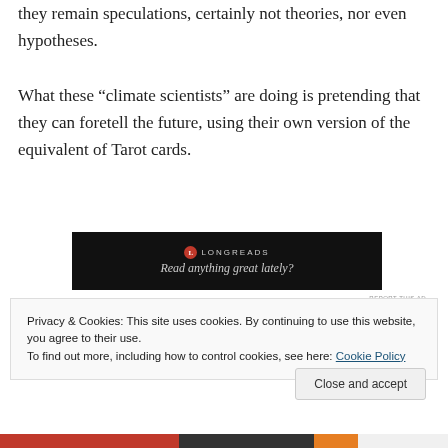they remain speculations, certainly not theories, nor even hypotheses.
What these “climate scientists” are doing is pretending that they can foretell the future, using their own version of the equivalent of Tarot cards.
[Figure (other): Longreads advertisement banner with black background. Shows Longreads logo (red circle with L) and tagline: Read anything great lately?]
REPORT THIS AD
Privacy & Cookies: This site uses cookies. By continuing to use this website, you agree to their use.
To find out more, including how to control cookies, see here: Cookie Policy
Close and accept